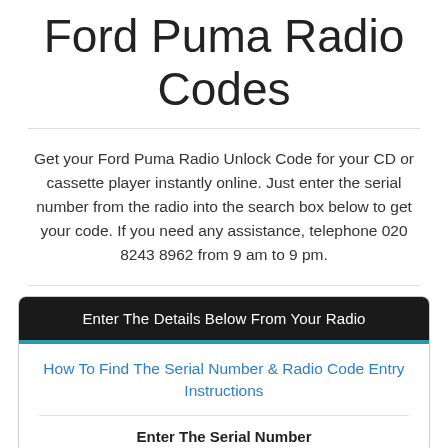Ford Puma Radio Codes
Get your Ford Puma Radio Unlock Code for your CD or cassette player instantly online. Just enter the serial number from the radio into the search box below to get your code. If you need any assistance, telephone 020 8243 8962 from 9 am to 9 pm.
Enter The Details Below From Your Radio
How To Find The Serial Number & Radio Code Entry Instructions
Enter The Serial Number